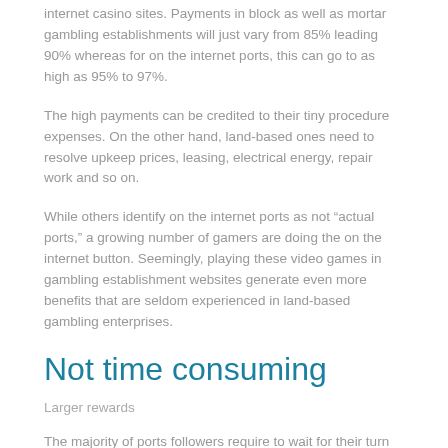internet casino sites. Payments in block as well as mortar gambling establishments will just vary from 85% leading 90% whereas for on the internet ports, this can go to as high as 95% to 97%.
The high payments can be credited to their tiny procedure expenses. On the other hand, land-based ones need to resolve upkeep prices, leasing, electrical energy, repair work and so on.
While others identify on the internet ports as not "actual ports," a growing number of gamers are doing the on the internet button. Seemingly, playing these video games in gambling establishment websites generate even more benefits that are seldom experienced in land-based gambling enterprises.
Not time consuming
Larger rewards
The majority of ports followers require to wait for their turn